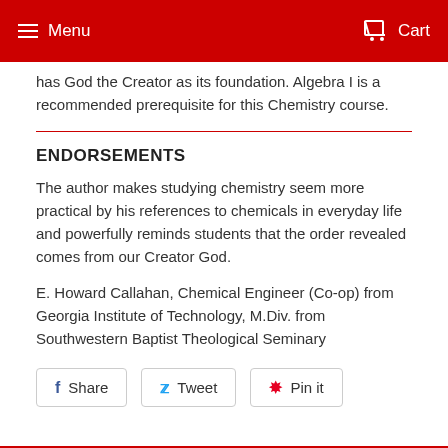Menu  Cart
has God the Creator as its foundation. Algebra I is a recommended prerequisite for this Chemistry course.
ENDORSEMENTS
The author makes studying chemistry seem more practical by his references to chemicals in everyday life and powerfully reminds students that the order revealed comes from our Creator God.
E. Howard Callahan, Chemical Engineer (Co-op) from Georgia Institute of Technology, M.Div. from Southwestern Baptist Theological Seminary